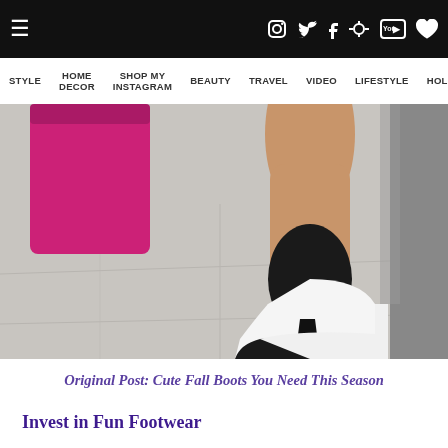≡  [Instagram] [Twitter] [Facebook] [Pinterest] [YouTube] [Heart]
STYLE  HOME DECOR  SHOP MY INSTAGRAM  BEAUTY  TRAVEL  VIDEO  LIFESTYLE  HOLID...
[Figure (photo): Close-up photo of a person's leg wearing a black and white two-tone high heel ankle boot, holding a pink/magenta handbag, walking on grey concrete pavement.]
Original Post: Cute Fall Boots You Need This Season
Invest in Fun Footwear